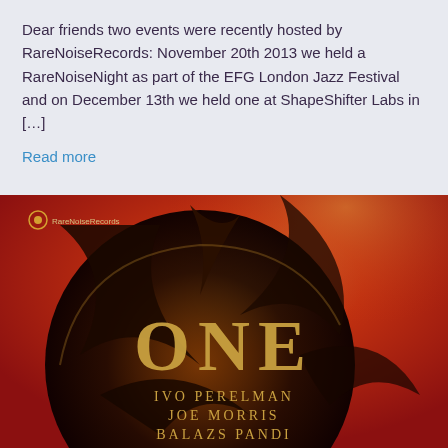Dear friends two events were recently hosted by RareNoiseRecords: November 20th 2013 we held a RareNoiseNight as part of the EFG London Jazz Festival and on December 13th we held one at ShapeShifter Labs in […]
Read more
[Figure (illustration): Album cover for 'ONE' by Ivo Perelman, Joe Morris, Balazs Pandi on RareNoise Records. Red background with a large dark circular shape and abstract feather/arrow elements. Gold serif text reads 'ONE' and artist names below.]